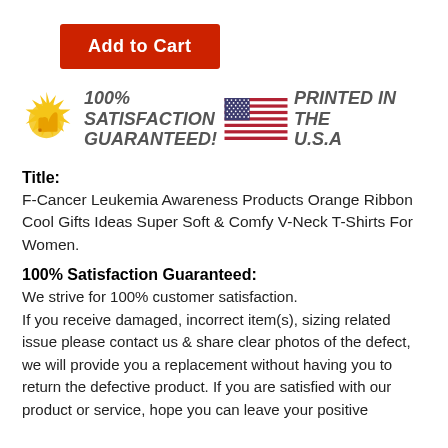[Figure (other): Red 'Add to Cart' button]
[Figure (infographic): 100% Satisfaction Guaranteed badge with thumbs up icon and Printed in the USA badge with American flag]
Title:
F-Cancer Leukemia Awareness Products Orange Ribbon Cool Gifts Ideas Super Soft & Comfy V-Neck T-Shirts For Women.
100% Satisfaction Guaranteed:
We strive for 100% customer satisfaction.
If you receive damaged, incorrect item(s), sizing related issue please contact us & share clear photos of the defect, we will provide you a replacement without having you to return the defective product. If you are satisfied with our product or service, hope you can leave your positive